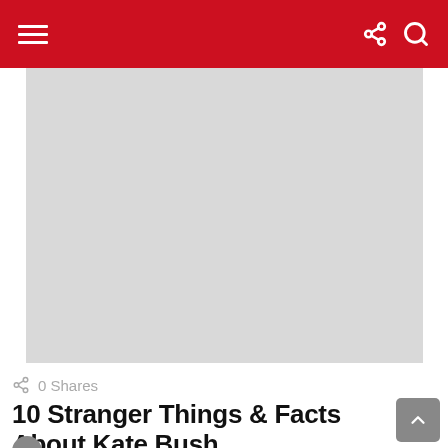Navigation bar with hamburger menu, share icon, and search icon
[Figure (photo): Large light gray image placeholder area below the navigation bar]
0 Shares
10 Stranger Things & Facts About Kate Bush